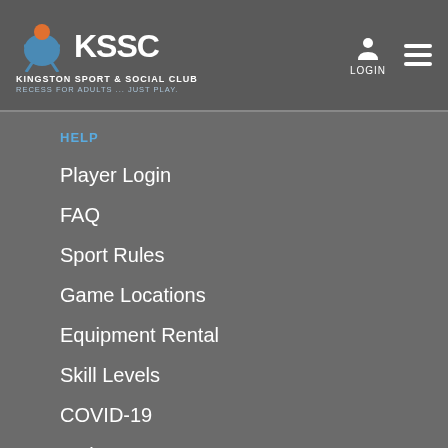KSSC - Kingston Sport & Social Club — RECESS FOR ADULTS ... JUST PLAY. | LOGIN
HELP
Player Login
FAQ
Sport Rules
Game Locations
Equipment Rental
Skill Levels
COVID-19
Waiver
TeamPayer
Build Your Roster
Podium Pricing